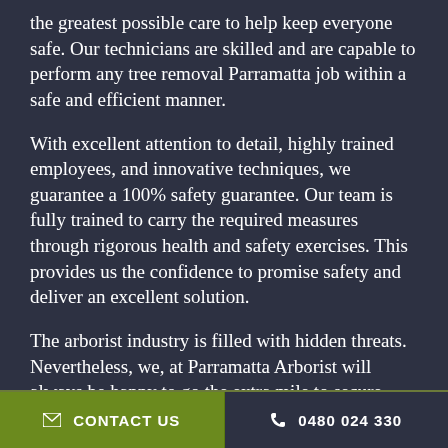the greatest possible care to help keep everyone safe. Our technicians are skilled and are capable to perform any tree removal Parramatta job within a safe and efficient manner.
With excellent attention to detail, highly trained employees, and innovative techniques, we guarantee a 100% safety guarantee. Our team is fully trained to carry the required measures through rigorous health and safety exercises. This provides us the confidence to promise safety and deliver an excellent solution.
The arborist industry is filled with hidden threats. Nevertheless, we, at Parramatta Arborist will always be happy to go the extra mile to secure your own personal safety, along with the safety of fellow members of the family.
CONTACT US   0480 024 330